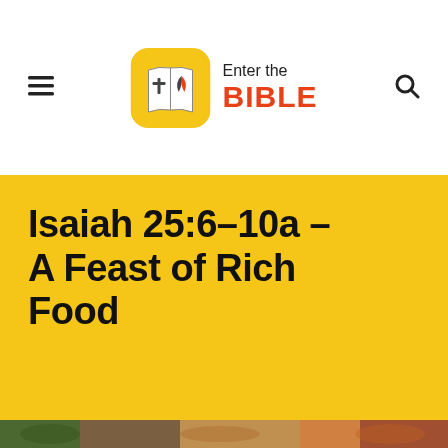Enter the BIBLE
Isaiah 25:6–10a – A Feast of Rich Food
[Figure (photo): Bottom strip showing a food feast scene with green plants, wooden table, and dishes]